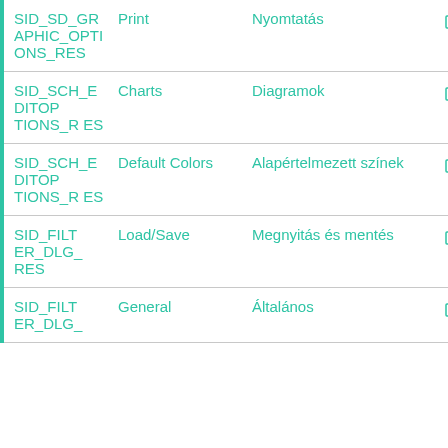| ID | English | Hungarian | Actions |
| --- | --- | --- | --- |
| SID_SD_GRAPHIC_OPTIONS_RES | Print | Nyomtatás | [copy][link] |
| SID_SCH_EDITOPTIONS_RES | Charts | Diagramok | [copy][link] |
| SID_SCH_EDITOPTIONS_RES | Default Colors | Alapértelmezett színek | [copy][link] |
| SID_FILTER_DLG_RES | Load/Save | Megnyitás és mentés | [copy][link] |
| SID_FILTER_DLG_ | General | Általános | [copy][link] |